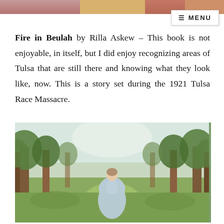[Figure (photo): Top banner: partial photo strip showing colorful image at top of page]
≡ MENU
Fire in Beulah by Rilla Askew – This book is not enjoyable, in itself, but I did enjoy recognizing areas of Tulsa that are still there and knowing what they look like, now. This is a story set during the 1921 Tulsa Race Massacre.
[Figure (photo): Photograph of a woman in a light blue dress walking away from the camera through a green orchard or garden with trees on either side.]